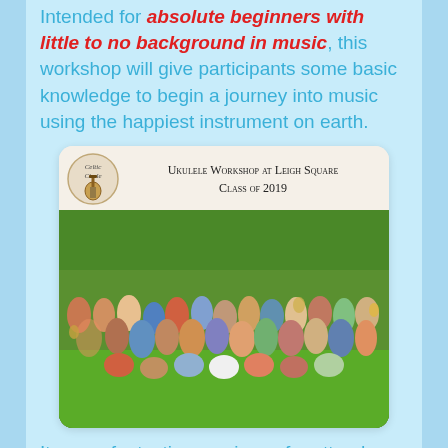Intended for absolute beginners with little to no background in music, this workshop will give participants some basic knowledge to begin a journey into music using the happiest instrument on earth.
[Figure (photo): Group photo of ukulele workshop attendees at Leigh Square, Class of 2019. Large group of people on green grass holding ukuleles, with trees in background. A logo circle with 'Celtic Circle' and a ukulele illustration appears in the upper left of the framed photo.]
It was a fantastic experience for attendees and